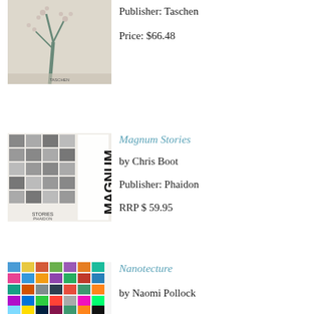[Figure (photo): Book cover for a Taschen publication showing a tree with blossoms on a light background]
Publisher: Taschen
Price: $66.48
[Figure (photo): Book cover for Magnum Stories showing a collage of many photographs pinned to a wall with MAGNUM text in bold vertical letters]
Magnum Stories
by Chris Boot
Publisher: Phaidon
RRP $ 59.95
[Figure (photo): Book cover for Nanotecture showing a colorful grid of small architectural photographs in various colors]
Nanotecture
by Naomi Pollock